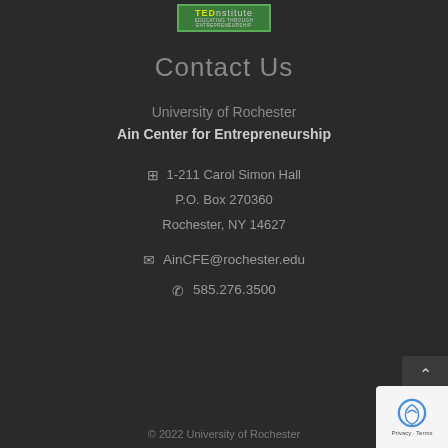[Figure (logo): TEDinstitute logo - green background with yellow TED text and white 'nstitute' text, subtitle reading 'Educating Through Entrepreneurship']
Contact Us
University of Rochester
Ain Center for Entrepreneurship
1-211 Carol Simon Hall
P.O. Box 270360
Rochester, NY 14627
AinCFE@rochester.edu
585.276.3500
© 2022 University of Rochester